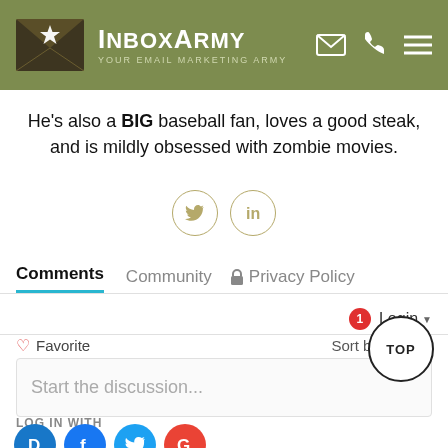InboxArmy — Your Email Marketing Army
He's also a BIG baseball fan, loves a good steak, and is mildly obsessed with zombie movies.
[Figure (other): Social media icons: Twitter bird and LinkedIn 'in' inside circular outlines]
Comments  Community  Privacy Policy
Login
Favorite  Sort by Best
Start the discussion...
LOG IN WITH
[Figure (other): Social login icons: Disqus (D), Facebook (f), Twitter bird, Google (G)]